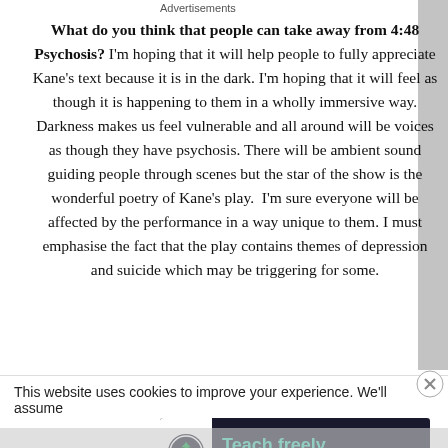What do you think that people can take away from 4:48 Psychosis? I'm hoping that it will help people to fully appreciate Kane's text because it is in the dark. I'm hoping that it will feel as though it is happening to them in a wholly immersive way. Darkness makes us feel vulnerable and all around will be voices as though they have psychosis. There will be ambient sound guiding people through scenes but the star of the show is the wonderful poetry of Kane's play.  I'm sure everyone will be affected by the performance in a way unique to them. I must emphasise the fact that the play contains themes of depression and suicide which may be triggering for some.
This website uses cookies to improve your experience. We'll assume
[Figure (other): Close/dismiss button (X in circle) for cookie notification]
Advertisements
[Figure (other): Advertisement banner with dark background showing a tree/person logo icon, green text 'Teach freely' and grey subtext 'Make money selling online courses.']